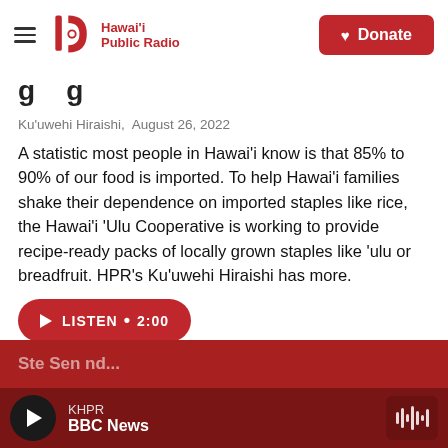Hawai'i Public Radio — Donate
Ku'uwehi Hiraishi, August 26, 2022
A statistic most people in Hawai'i know is that 85% to 90% of our food is imported. To help Hawai'i families shake their dependence on imported staples like rice, the Hawai'i 'Ulu Cooperative is working to provide recipe-ready packs of locally grown staples like 'ulu or breadfruit. HPR's Ku'uwehi Hiraishi has more.
[Figure (other): Red listen button with play icon — LISTEN • 2:00]
KHPR — BBC News — player bar